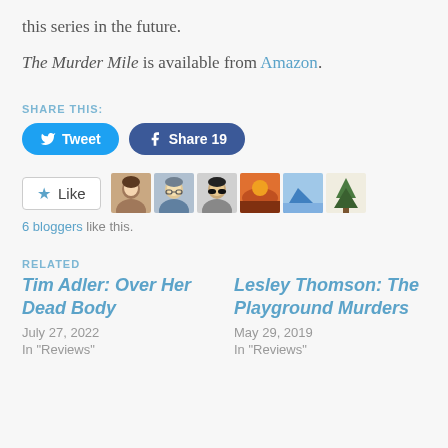this series in the future.
The Murder Mile is available from Amazon.
SHARE THIS:
Tweet  Share 19
Like  [6 blogger avatars]
6 bloggers like this.
RELATED
Tim Adler: Over Her Dead Body
July 27, 2022
In "Reviews"
Lesley Thomson: The Playground Murders
May 29, 2019
In "Reviews"